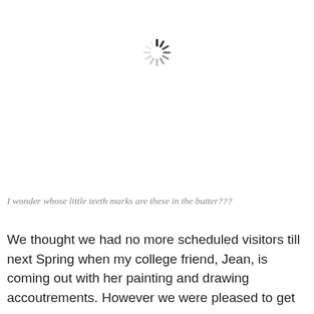[Figure (other): A loading spinner icon — a circle of short dashes/lines in a radial pattern, partially dark and partially light gray, indicating a loading state.]
I wonder whose little teeth marks are these in the butter???
We thought we had no more scheduled visitors till next Spring when my college friend, Jean, is coming out with her painting and drawing accoutrements. However we were pleased to get